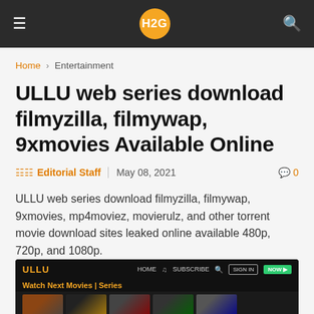H2G
Home › Entertainment
ULLU web series download filmyzilla, filmywap, 9xmovies Available Online
Editorial Staff  May 08, 2021   0
ULLU web series download filmyzilla, filmywap, 9xmovies, mp4moviez, movierulz, and other torrent movie download sites leaked online available 480p, 720p, and 1080p.
[Figure (screenshot): Screenshot of ULLU website showing logo, navigation bar with HOME, SUBSCRIBE, SIGN IN buttons, 'Watch Next Movies | Series' subtitle, and thumbnail images of content]